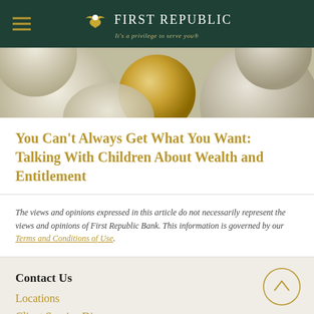First Republic — It's a privilege to serve you®
[Figure (photo): Abstract close-up photo of white and gold spheres/eggs, with one gold sphere in the center surrounded by white spheres]
You Can't Always Get What You Want: Talking With Children About Wealth and Entitlement
The views and opinions expressed in this article do not necessarily represent the views and opinions of First Republic Bank. This information is governed by our Terms and Conditions of Use.
Contact Us
Locations
Client Service Di...